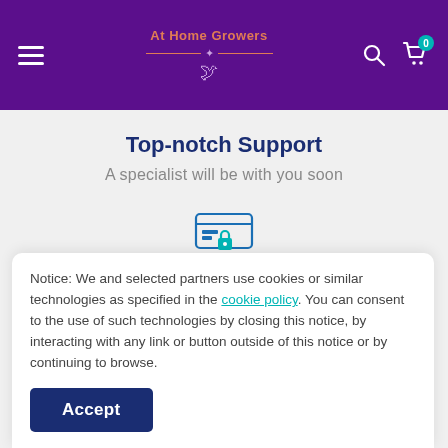At Home Growers — navigation header with hamburger menu, logo, search icon, cart (0)
Top-notch Support
A specialist will be with you soon
[Figure (illustration): Secure payments icon: credit card with padlock]
Secure Payments
We do not share purchase information
Notice: We and selected partners use cookies or similar technologies as specified in the cookie policy. You can consent to the use of such technologies by closing this notice, by interacting with any link or button outside of this notice or by continuing to browse.